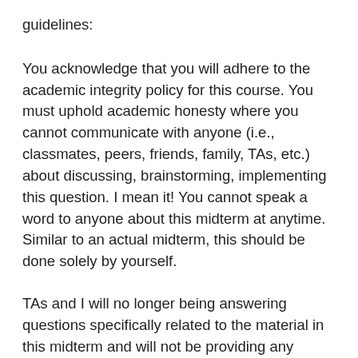guidelines:
You acknowledge that you will adhere to the academic integrity policy for this course. You must uphold academic honesty where you cannot communicate with anyone (i.e., classmates, peers, friends, family, TAs, etc.) about discussing, brainstorming, implementing this question. I mean it! You cannot speak a word to anyone about this midterm at anytime. Similar to an actual midterm, this should be done solely by yourself.
TAs and I will no longer being answering questions specifically related to the material in this midterm and will not be providing any assistance on the debugging or implementation for this midterm. The main reason for this is to ensure those students who complete this early are not at a disadvantage to students who complete this later,